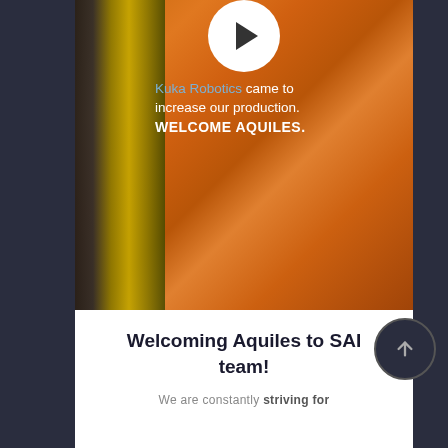[Figure (photo): Industrial orange robotic arm (Kuka Robotics) with yellow scaffold structure in the background. A white circular play button is visible at the top center. Text overlay reads: 'Kuka Robotics came to increase our production. WELCOME AQUILES.']
Kuka Robotics came to increase our production. WELCOME AQUILES.
Welcoming Aquiles to SAI team!
We are constantly striving for